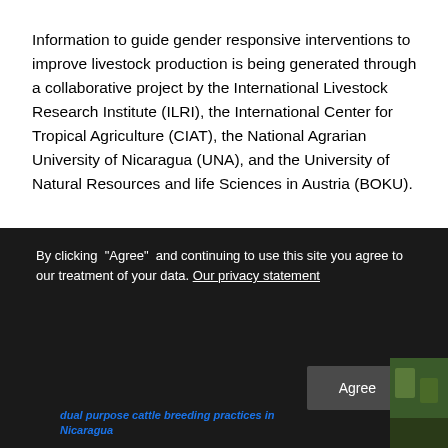Information to guide gender responsive interventions to improve livestock production is being generated through a collaborative project by the International Livestock Research Institute (ILRI), the International Center for Tropical Agriculture (CIAT), the National Agrarian University of Nicaragua (UNA), and the University of Natural Resources and life Sciences in Austria (BOKU).
This poster, produced for the Tropentag 2016 conference, shares findings from an evaluation of the impacts of intra-household gender influences on breed choice, productivity and the adoption of breeding technologies in central
By clicking “Agree” and continuing to use this site you agree to our treatment of your data. Our privacy statement
dual purpose cattle breeding practices in Nicaragua